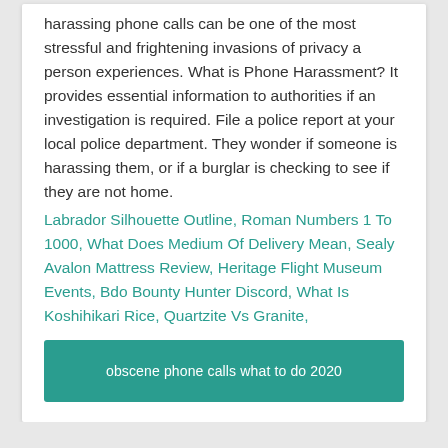harassing phone calls can be one of the most stressful and frightening invasions of privacy a person experiences. What is Phone Harassment? It provides essential information to authorities if an investigation is required. File a police report at your local police department. They wonder if someone is harassing them, or if a burglar is checking to see if they are not home.
Labrador Silhouette Outline, Roman Numbers 1 To 1000, What Does Medium Of Delivery Mean, Sealy Avalon Mattress Review, Heritage Flight Museum Events, Bdo Bounty Hunter Discord, What Is Koshihikari Rice, Quartzite Vs Granite,
obscene phone calls what to do 2020